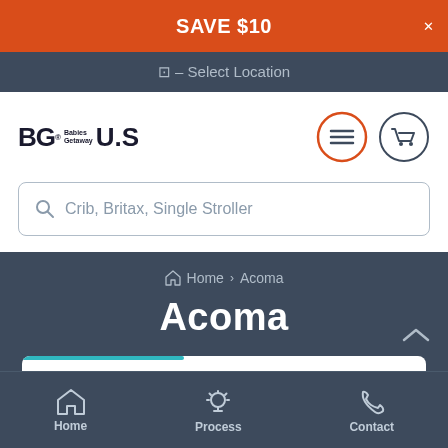SAVE $10
– Select Location
[Figure (logo): BG Babies Getaway U.S logo with hamburger menu icon and shopping cart icon]
Crib, Britax, Single Stroller
Home > Acoma
Acoma
Home | Process | Contact